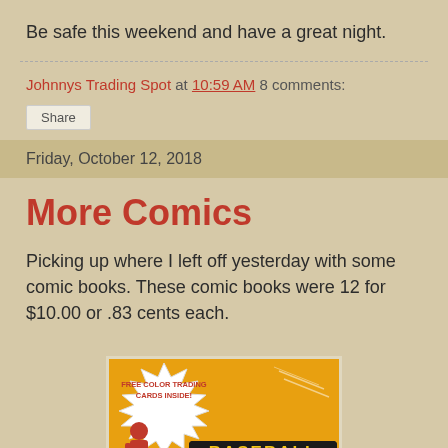Be safe this weekend and have a great night.
Johnnys Trading Spot at 10:59 AM   8 comments:
Share
Friday, October 12, 2018
More Comics
Picking up where I left off yesterday with some comic books. These comic books were 12 for $10.00 or .83 cents each.
[Figure (photo): Comic book cover for Baseball Legends with orange background, starburst shape saying FREE COLOR TRADING CARDS INSIDE!, and large bold text BASEBALL LEGENDS with a baseball player silhouette]